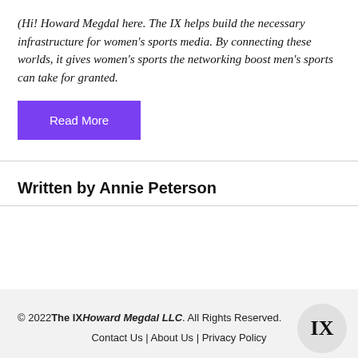(Hi! Howard Megdal here. The IX helps build the necessary infrastructure for women's sports media. By connecting these worlds, it gives women's sports the networking boost men's sports can take for granted.
Read More
Written by Annie Peterson
© 2022 The IX Howard Megdal LLC. All Rights Reserved. Contact Us | About Us | Privacy Policy